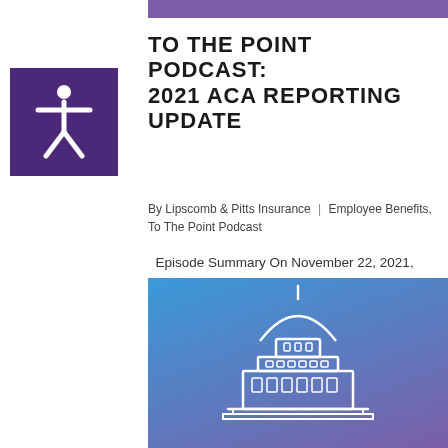[Figure (logo): Accessibility icon - white human figure with arms outstretched on purple/dark violet square background]
TO THE POINT PODCAST: 2021 ACA REPORTING UPDATE
By Lipscomb & Pitts Insurance | Employee Benefits, To The Point Podcast
Episode Summary On November 22, 2021, the IRS published proposed regulations that introduce significant changes to the ACA reporting process for both large and small employers. Episode Notes These...
[Figure (illustration): White outline illustration of a capitol building / government building dome on a blue-to-purple gradient background]